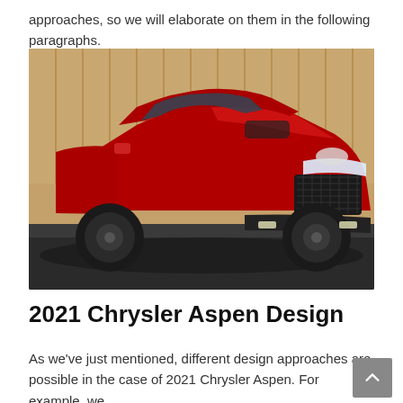approaches, so we will elaborate on them in the following paragraphs.
[Figure (photo): Red 2021 Chrysler Aspen SUV photographed from the front-left side against a warm tan corrugated wall background, parked on a dark surface.]
2021 Chrysler Aspen Design
As we've just mentioned, different design approaches are possible in the case of 2021 Chrysler Aspen. For example, we